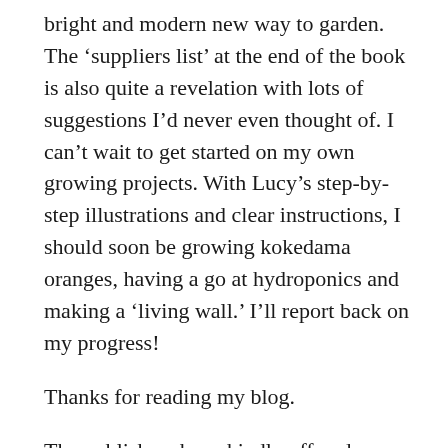bright and modern new way to garden. The 'suppliers list' at the end of the book is also quite a revelation with lots of suggestions I'd never even thought of. I can't wait to get started on my own growing projects. With Lucy's step-by-step illustrations and clear instructions, I should soon be growing kokedama oranges, having a go at hydroponics and making a 'living wall.' I'll report back on my progress!
Thanks for reading my blog.
The publishers have kindly offered one copy for a prize draw. Please leave comments below to be included in the draw. A name will be randomly drawn on Sunday, 23 May at 6pm. There will be nothing to pay and I will contact you from my e mail which is k.gimson@btinternet.com